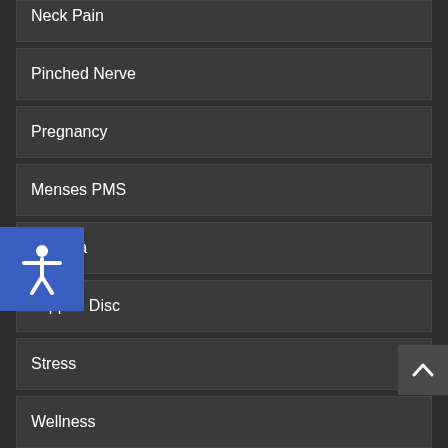Neck Pain
Pinched Nerve
Pregnancy
Menses PMS
Sciatica
Slipped Disc
Stress
Wellness
Whiplash